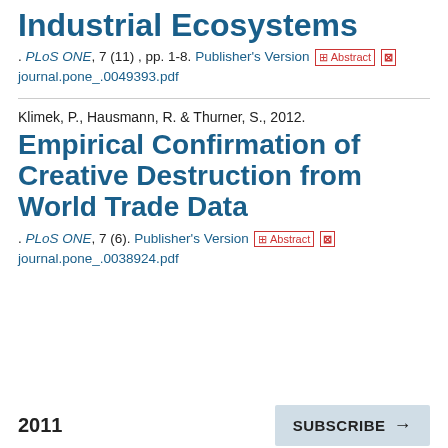Industrial Ecosystems
. PLoS ONE, 7 (11) , pp. 1-8. Publisher's Version ⊞Abstract 🔲 journal.pone_.0049393.pdf
Klimek, P., Hausmann, R. & Thurner, S., 2012.
Empirical Confirmation of Creative Destruction from World Trade Data
. PLoS ONE, 7 (6). Publisher's Version ⊞Abstract 🔲 journal.pone_.0038924.pdf
2011
SUBSCRIBE →